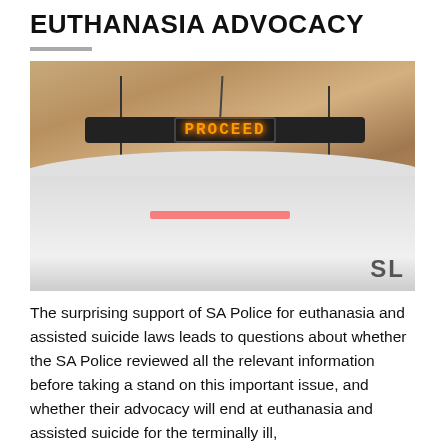EUTHANASIA ADVOCACY
[Figure (photo): Close-up photo of a SA Police vehicle roof with a light bar mounted on top. An LED display on the light bar reads 'PROCEED' in orange illuminated letters. Two antennas are visible. The vehicle is white and the background is a warm brownish-orange sky.]
The surprising support of SA Police for euthanasia and assisted suicide laws leads to questions about whether the SA Police reviewed all the relevant information before taking a stand on this important issue, and whether their advocacy will end at euthanasia and assisted suicide for the terminally ill,